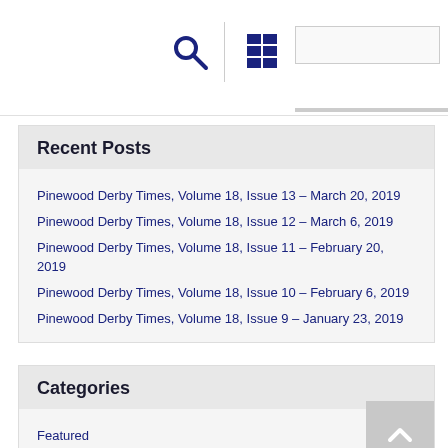Search and navigation bar with search icon, grid icon, and search input
Recent Posts
Pinewood Derby Times, Volume 18, Issue 13 – March 20, 2019
Pinewood Derby Times, Volume 18, Issue 12 – March 6, 2019
Pinewood Derby Times, Volume 18, Issue 11 – February 20, 2019
Pinewood Derby Times, Volume 18, Issue 10 – February 6, 2019
Pinewood Derby Times, Volume 18, Issue 9 – January 23, 2019
Categories
Featured
Posts